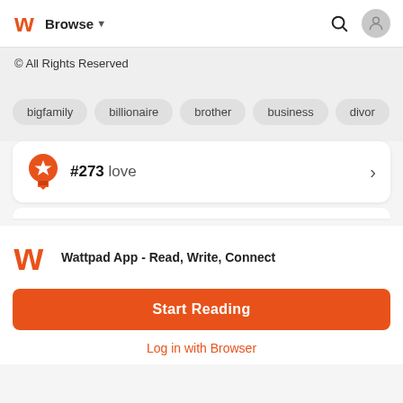Browse
© All Rights Reserved
bigfamily
billionaire
brother
business
divor...
#273  love
Wattpad App - Read, Write, Connect
Start Reading
Log in with Browser